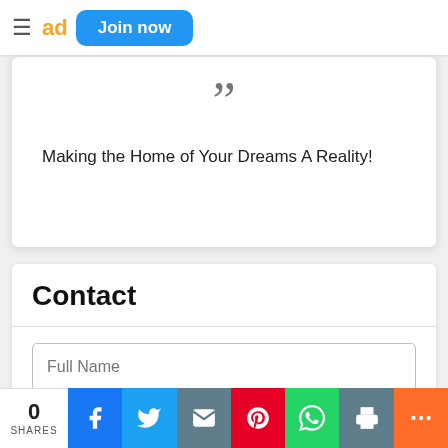≡ ad Join now
Making the Home of Your Dreams A Reality!
Contact
Full Name
0 SHARES  Facebook  Twitter  Email  Pinterest  WhatsApp  Print  More